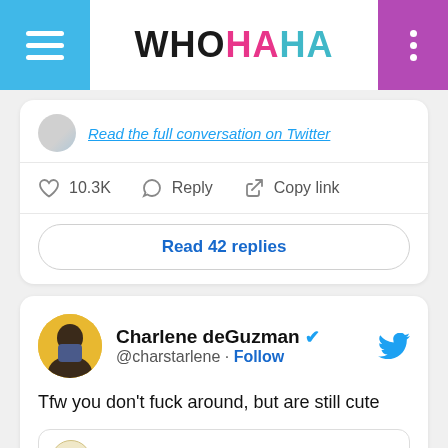WHOHAHA
Read the full conversation on Twitter
10.3K  Reply  Copy link
Read 42 replies
Charlene deGuzman @charstarlene · Follow
Tfw you don't fuck around, but are still cute
natgeo Nunavut